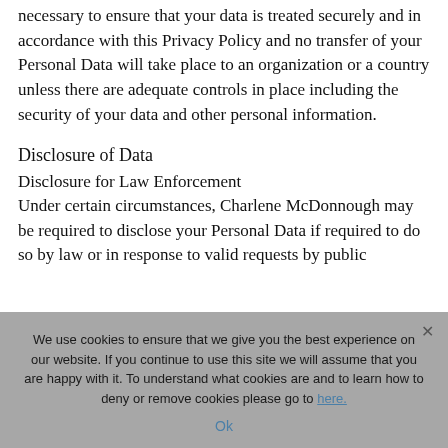necessary to ensure that your data is treated securely and in accordance with this Privacy Policy and no transfer of your Personal Data will take place to an organization or a country unless there are adequate controls in place including the security of your data and other personal information.
Disclosure of Data
Disclosure for Law Enforcement
Under certain circumstances, Charlene McDonnough may be required to disclose your Personal Data if required to do so by law or in response to valid requests by public...
We use cookies to ensure that we give you the best experience on our website. If you continue to use this site we will assume that you are happy with it. To understand what cookies are and to learn how to deny or remove cookies please go to here.
Ok